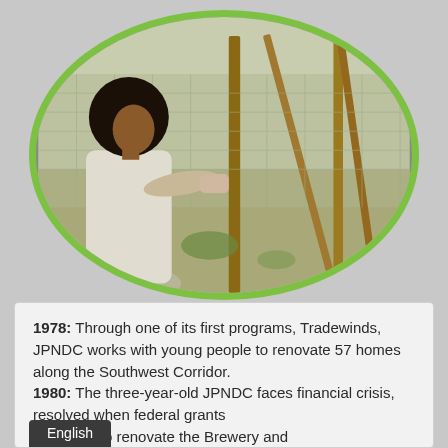[Figure (photo): Oval-framed photograph with green border showing a person with an afro hairstyle holding a wooden post or ladder near a chain-link fence, outdoors]
1978: Through one of its first programs, Tradewinds, JPNDC works with young people to renovate 57 homes along the Southwest Corridor.
1980: The three-year-old JPNDC faces financial crisis, resolved when federal grants approved to renovate the Brewery and the Angela Westover House.